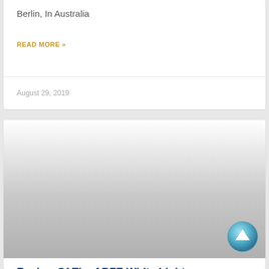Berlin, In Australia
READ MORE »
August 29, 2019
[Figure (photo): Gradient image fading from white at top to gray at bottom, representing a blog post thumbnail image]
[Figure (illustration): Circular scroll-to-top button with teal/blue gradient background and white upward arrow]
Review Of The ABFE White Light